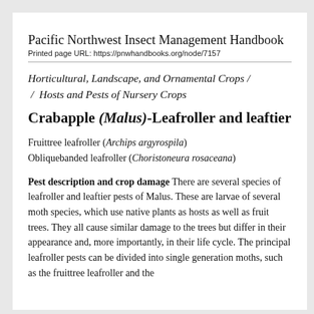Pacific Northwest Insect Management Handbook
Printed page URL: https://pnwhandbooks.org/node/7157
Horticultural, Landscape, and Ornamental Crops / / Hosts and Pests of Nursery Crops
Crabapple (Malus)-Leafroller and leaftier
Fruittree leafroller (Archips argyrospila)
Obliquebanded leafroller (Choristoneura rosaceana)
Pest description and crop damage There are several species of leafroller and leaftier pests of Malus. These are larvae of several moth species, which use native plants as hosts as well as fruit trees. They all cause similar damage to the trees but differ in their appearance and, more importantly, in their life cycle. The principal leafroller pests can be divided into single generation moths, such as the fruittree leafroller and the